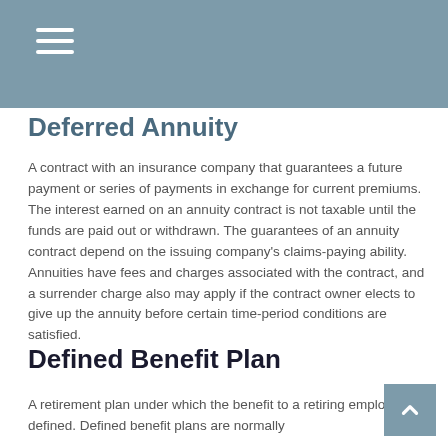Deferred Annuity
A contract with an insurance company that guarantees a future payment or series of payments in exchange for current premiums. The interest earned on an annuity contract is not taxable until the funds are paid out or withdrawn. The guarantees of an annuity contract depend on the issuing company's claims-paying ability. Annuities have fees and charges associated with the contract, and a surrender charge also may apply if the contract owner elects to give up the annuity before certain time-period conditions are satisfied.
Defined Benefit Plan
A retirement plan under which the benefit to a retiring employee is defined. Defined benefit plans are normally